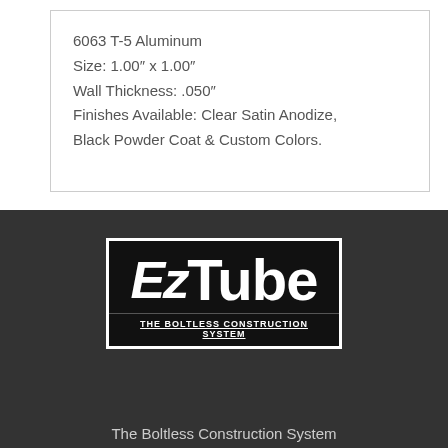6063 T-5 Aluminum
Size: 1.00″ x 1.00″
Wall Thickness: .050″
Finishes Available: Clear Satin Anodize, Black Powder Coat & Custom Colors.
[Figure (logo): EzTube logo — white text on black background with border, tagline: THE BOLTLESS CONSTRUCTION SYSTEM]
The Boltless Construction System